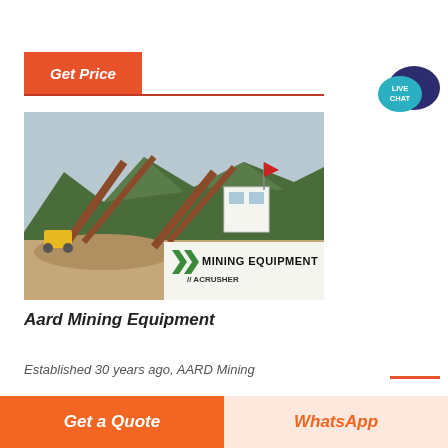Get Price
[Figure (photo): Mining equipment facility with conveyor belts, gravel piles, mountains in background, and MINING EQUIPMENT ACRUSHER signage overlay]
Aard Mining Equipment
Established 30 years ago, AARD Mining
Get a Quote
WhatsApp